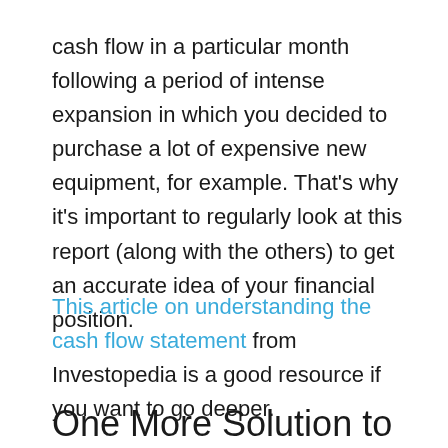cash flow in a particular month following a period of intense expansion in which you decided to purchase a lot of expensive new equipment, for example. That's why it's important to regularly look at this report (along with the others) to get an accurate idea of your financial position.
This article on understanding the cash flow statement from Investopedia is a good resource if you want to go deeper.
One More Solution to